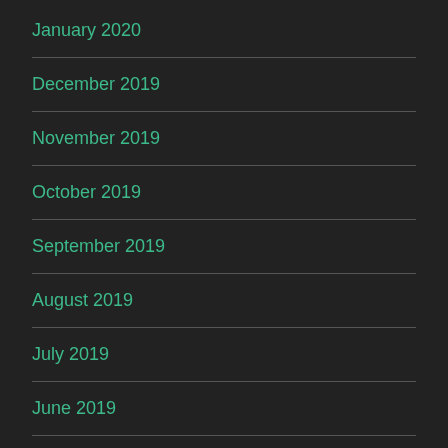January 2020
December 2019
November 2019
October 2019
September 2019
August 2019
July 2019
June 2019
May 2019